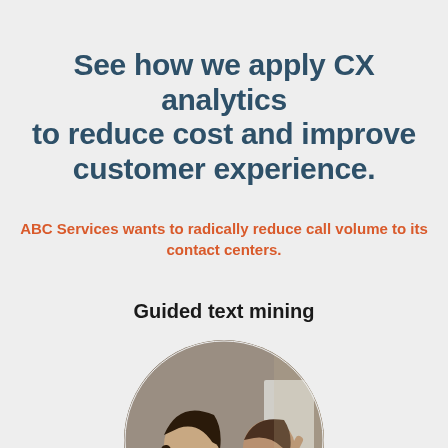See how we apply CX analytics to reduce cost and improve customer experience.
ABC Services wants to radically reduce call volume to its contact centers.
Guided text mining
[Figure (photo): Two professionals, a woman and a man, looking at a computer monitor together in an office setting. Circular cropped photo.]